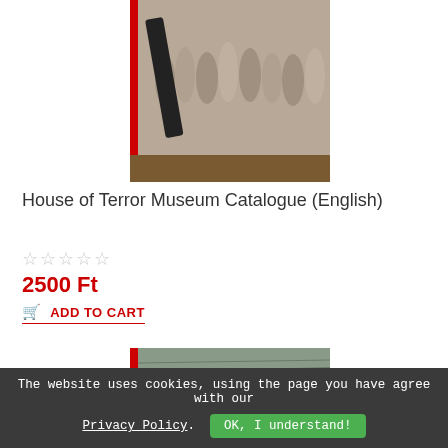[Figure (photo): Photo of a museum exhibit showing a relief sculpture with figures, a dark foreground element in front]
House of Terror Museum Catalogue (English)
☆☆☆☆☆
2500 Ft
🛒 ADD TO CART
[Figure (photo): Black and white photo of a crowd scene with a person in foreground, red stripe on left edge]
The website uses cookies, using the page you have agree with our Privacy Policy. OK, I understand!